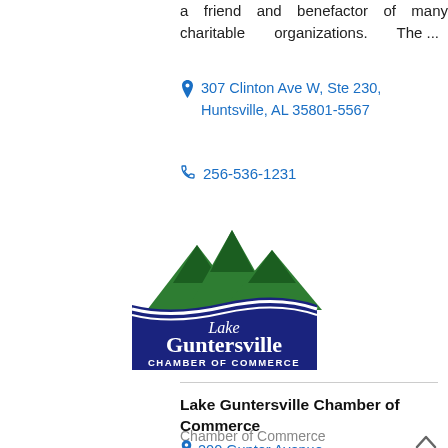a friend and benefactor of many charitable organizations. The ...
307 Clinton Ave W, Ste 230, Huntsville, AL 35801-5567
256-536-1231
[Figure (logo): Lake Guntersville Chamber of Commerce logo with green mountain peaks and dark blue wave banner with white text]
Lake Guntersville Chamber of Commerce
Chamber of Commerce
200 Gunter Avenue, Guntersville, AL 35976